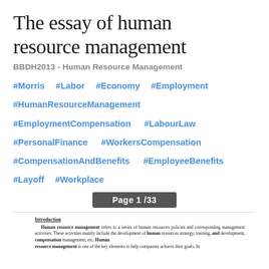The essay of human resource management
BBDH2013 - Human Resource Management
#Morris   #Labor   #Economy   #Employment
#HumanResourceManagement
#EmploymentCompensation    #LabourLaw
#PersonalFinance   #WorkersCompensation
#CompensationAndBenefits   #EmployeeBenefits
#Layoff   #Workplace
Page 1 /33
Introduction
Human resource management refers to a series of human resources policies and corresponding management activities. These activities mainly include the development of human resources strategy, training, and development, compensation management, etc. Human resource management is one of the key elements to help companies achieve their goals. In